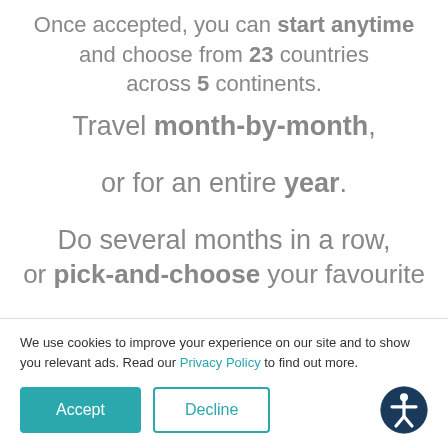Once accepted, you can start anytime and choose from 23 countries across 5 continents.
Travel month-by-month,
or for an entire year.
Do several months in a row, or pick-and-choose your favourite
We use cookies to improve your experience on our site and to show you relevant ads. Read our Privacy Policy to find out more.